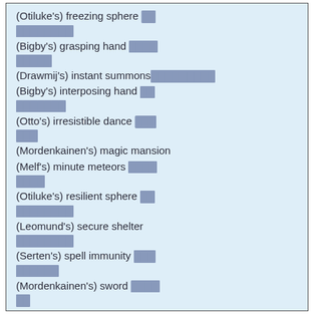(Otiluke's) freezing sphere [REDACTED]
(Bigby's) grasping hand [REDACTED]
(Drawmij's) instant summons[REDACTED]
(Bigby's) interposing hand [REDACTED]
(Otto's) irresistible dance [REDACTED]
(Mordenkainen's) magic mansion
(Melf's) minute meteors [REDACTED]
(Otiluke's) resilient sphere [REDACTED]
(Leomund's) secure shelter [REDACTED]
(Serten's) spell immunity [REDACTED]
(Mordenkainen's) sword [REDACTED]
(Otiluke's) telekinetic sphere [REDACTED]